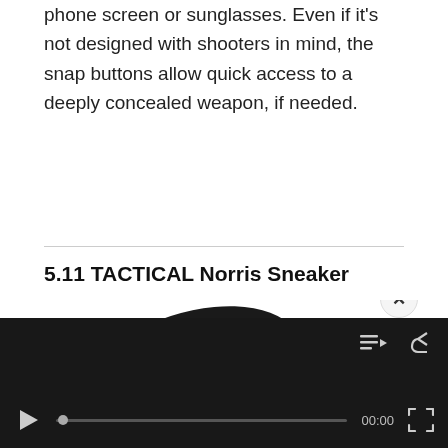phone screen or sunglasses. Even if it's not designed with shooters in mind, the snap buttons allow quick access to a deeply concealed weapon, if needed.
5.11 TACTICAL Norris Sneaker
[Figure (photo): A black 5.11 TACTICAL Norris Sneaker shown from bottom/sole angle, with a yellow logo sticker visible on the sole. A video player overlay appears in the bottom-right corner with a close button (×), playlist and share icons, a play button, progress bar showing 00:00, and a fullscreen button.]